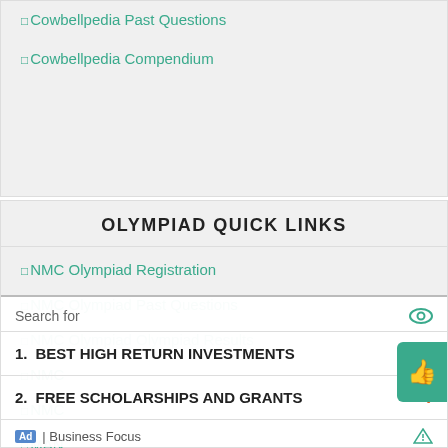□Cowbellpedia Past Questions
□Cowbellpedia Compendium
OLYMPIAD QUICK LINKS
□NMC Olympiad Registration
□NMC Olympiad Past Questions
□NMC Olympiad Olympiad Results
□NMC
□NMC
□MAN
Search for
1.  BEST HIGH RETURN INVESTMENTS
2.  FREE SCHOLARSHIPS AND GRANTS
Ad | Business Focus